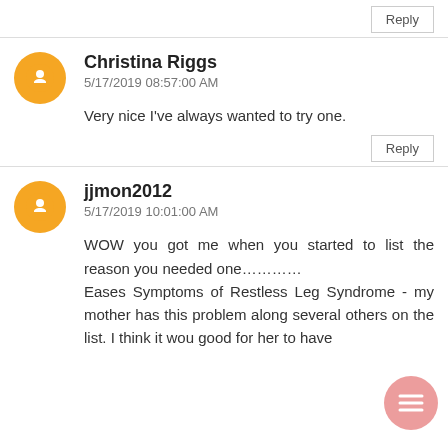Reply
Christina Riggs
5/17/2019 08:57:00 AM
Very nice I've always wanted to try one.
Reply
jjmon2012
5/17/2019 10:01:00 AM
WOW you got me when you started to list the reason you needed one…………
Eases Symptoms of Restless Leg Syndrome - my mother has this problem along several others on the list. I think it wou good for her to have